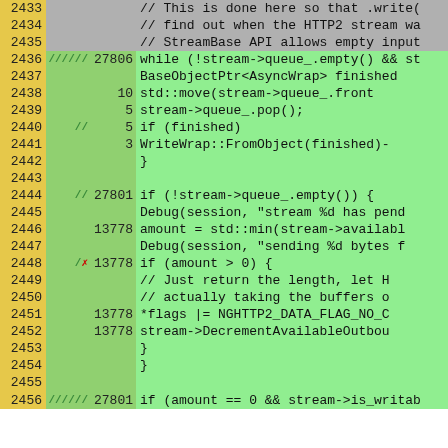[Figure (screenshot): Code coverage view showing lines 2433-2456 of source code with line numbers, coverage tick marks, hit counts, and code content. Green highlighted rows indicate covered lines. Lines show C++ code for stream queue processing with HTTP2.]